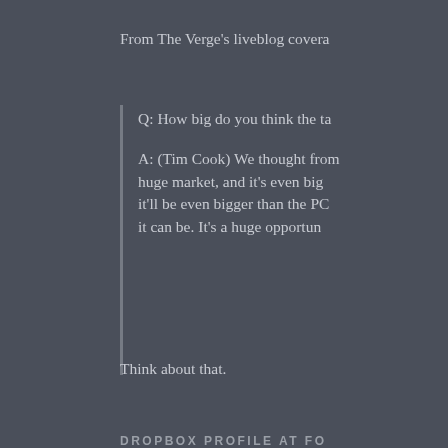From The Verge's liveblog covera…
Q: How big do you think the ta…
A: (Tim Cook) We thought from… huge market, and it's even big… it'll be even bigger than the PC… it can be. It's a huge opportun…
Think about that.
DROPBOX PROFILE AT FO…
Victoria Barret at Forbes, on the i…
In December 2009 Jobs beckon… New York City street, not the T… Ferdowsi, for a meeting at his… friggin' Jobs," remembers Hou…